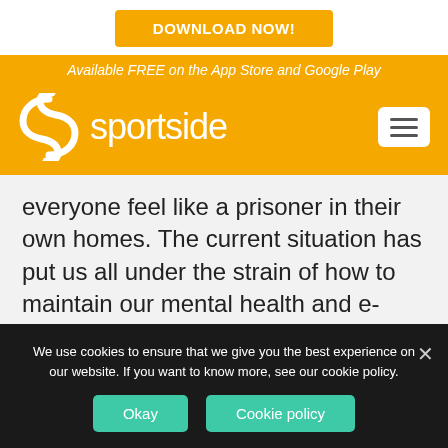DOWNLOAD NOW!
Available FREE on the App Store and Google Play
[Figure (logo): Sportside logo with spinning S icon on yellow background, with hamburger menu button]
everyone feel like a prisoner in their own homes. The current situation has put us all under the strain of how to maintain our mental health and e-gaming has provided an opportunity to keep our minds active and occupied
We use cookies to ensure that we give you the best experience on our website. If you want to know more, see our cookie policy.
Okay
Cookie policy